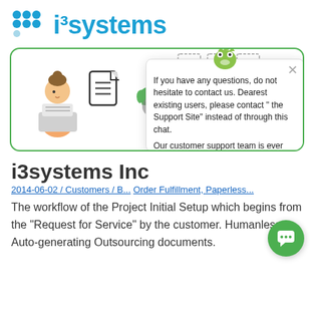[Figure (logo): i3systems logo with blue text and colored dot grid icon]
[Figure (screenshot): Green-bordered card with illustration of woman at computer, document icon, and cloud with recycle arrows icon. Overlaid by a chat popup widget with gecko mascot icon and support message text.]
i3systems Inc
2014-06-02 / Customers / B... Order Fulfillment, Paperless...
The workflow of the Project Initial Setup which begins from the "Request for Service" by the customer. Humanless Auto-generating Outsourcing documents.